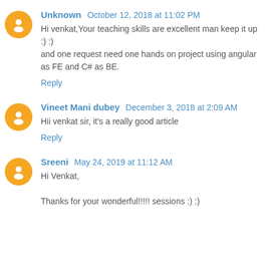Unknown October 12, 2018 at 11:02 PM
Hi venkat,Your teaching skills are excellent man keep it up :) :)
and one request need one hands on project using angular as FE and C# as BE.
Reply
Vineet Mani dubey December 3, 2018 at 2:09 AM
Hii venkat sir, it's a really good article
Reply
Sreeni May 24, 2019 at 11:12 AM
Hi Venkat,
Thanks for your wonderful!!!!! sessions :) :)